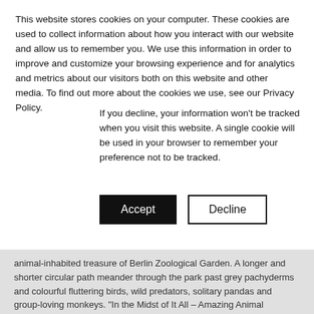This website stores cookies on your computer. These cookies are used to collect information about how you interact with our website and allow us to remember you. We use this information in order to improve and customize your browsing experience and for analytics and metrics about our visitors both on this website and other media. To find out more about the cookies we use, see our Privacy Policy.
If you decline, your information won't be tracked when you visit this website. A single cookie will be used in your browser to remember your preference not to be tracked.
animal-inhabited treasure of Berlin Zoological Garden. A longer and shorter circular path meander through the park past grey pachyderms and colourful fluttering birds, wild predators, solitary pandas and group-loving monkeys. "In the Midst of It All – Amazing Animal Diversity" is the motto of our strategic development plan for the Berlin Zoo. Home to more species than any other zoo in the world, the zoo features a park-like landscape structure and listed historical architecture. As an inner-city zoo, Berlin Zoological Garden promises to offer a concentrated experience rich in variety for generations to come. The existing landscape structures are to be retained, animal